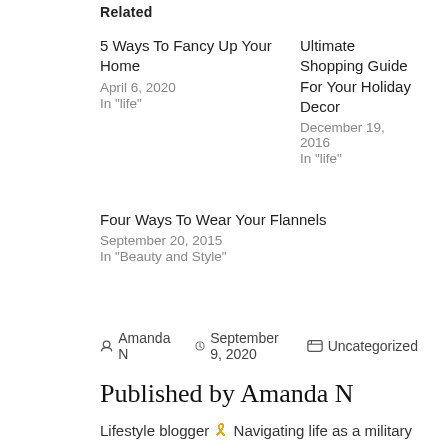Related
5 Ways To Fancy Up Your Home
April 6, 2020
In "life"
Ultimate Shopping Guide For Your Holiday Decor
December 19, 2016
In "life"
Four Ways To Wear Your Flannels
September 20, 2015
In "Beauty and Style"
By Amanda N  |  September 9, 2020  |  Uncategorized
Published by Amanda N
Lifestyle blogger 🎗 Navigating life as a military spouse on the East Coast. Join our adventure! View